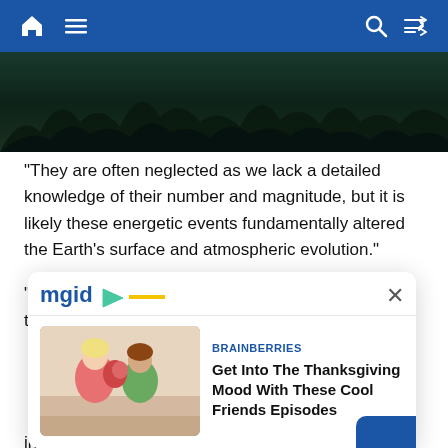Navigation bar with home, menu, search, and shuffle icons
[Figure (photo): Dark forest or night sky image strip at top of article]
"They are often neglected as we lack a detailed knowledge of their number and magnitude, but it is likely these energetic events fundamentally altered the Earth's surface and atmospheric evolution."
"For example, one outcome we are looking at is to try to understand...
[Figure (infographic): MGID advertisement popup overlay with Brainberries article 'Get Into The Thanksgiving Mood With These Cool Friends Episodes' and thumbnail image of two women, with close button X]
indeed to the development of life. Its possible connection with collisions is intriguing and deserved further investigation. This is the